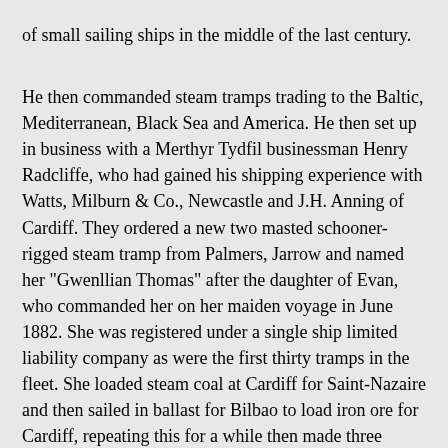of small sailing ships in the middle of the last century.
He then commanded steam tramps trading to the Baltic, Mediterranean, Black Sea and America. He then set up in business with a Merthyr Tydfil businessman Henry Radcliffe, who had gained his shipping experience with Watts, Milburn & Co., Newcastle and J.H. Anning of Cardiff. They ordered a new two masted schooner-rigged steam tramp from Palmers, Jarrow and named her "Gwenllian Thomas" after the daughter of Evan, who commanded her on her maiden voyage in June 1882. She was registered under a single ship limited liability company as were the first thirty tramps in the fleet. She loaded steam coal at Cardiff for Saint-Nazaire and then sailed in ballast for Bilbao to load iron ore for Cardiff, repeating this for a while then made three voyages to Gibraltar for copper ore from Huelva for Liverpool. She made occasional voyages on the ‘eternal triangle’ with grain homeward from the Black Sea.
Good profits were made by the first tramp and the fleet expanded to six by 1884. These were named after Evan’s daughters Kate and Ann and his only son Walter and his sister Mary. On the Radcliffe side W.I. Radcliffe was the only son and Clarissa his daughter. The first tramp with a ‘Llan’ prefix was "Llanberis" of 1890. The fleet had expanded to 15 tramps when Evan died on 14th November 1891 aged 49 years. Henry Radcliffe then took his younger brother